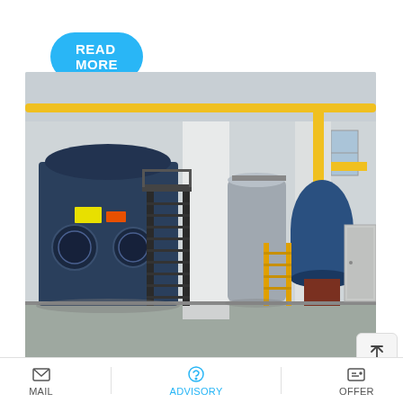READ MORE
[Figure (photo): Industrial boiler room with large blue and silver boilers, yellow piping, black metal staircases, and white structural columns in a factory setting.]
10 Best Boilers of 2020 | Gas, Propane, Oil, Electric
…ncy Boiler [2022]
[Figure (screenshot): WhatsApp sticker save overlay with purple-pink gradient background, showing 'Save Stickers on WhatsApp' label and two app icons (green WhatsApp phone icon and pink emoji icon).]